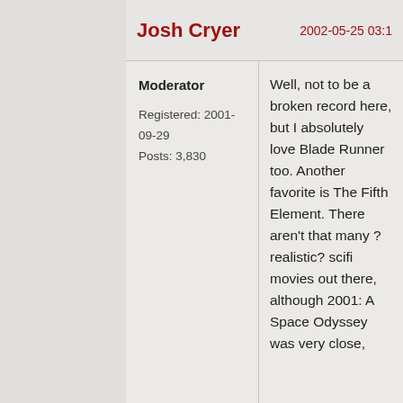Josh Cryer
2002-05-25 03:1
Moderator
Registered: 2001-09-29
Posts: 3,830
Well, not to be a broken record here, but I absolutely love Blade Runner too. Another favorite is The Fifth Element. There aren't that many ? realistic? scifi movies out there, although 2001: A Space Odyssey was very close,